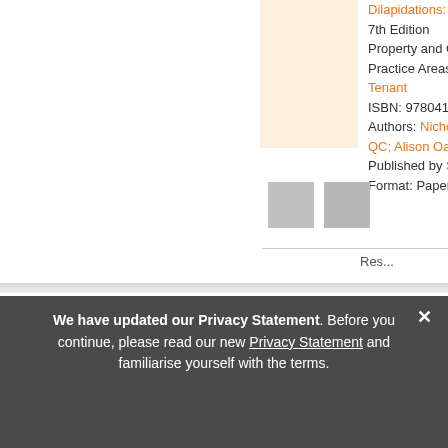[Figure (other): Book cover thumbnail — light peach/cream colored rectangle]
Dilapidations: The M... 7th Edition Property and Conveya... Practice Areas: Land a... Tenant ISBN: 978041409953... Authors: Nicholas Do... QC; Alison Oakes Published by Sweet &... Format: Paperback, e...
[Figure (other): Two small grey thumbnail image boxes side by side]
Res...
> Browse Practice Families
Common Law Library
Company and Commercial
Crime and Litigation
Land and Property
Private Client
Public Law / Regulatory / Other
> Customer Services
Shopping & Delivery
Billing & Accounts
Return Policy
International Customers
My Account Self Service
Contact Us
> About Us
Legal Solutions
Company Overview
Sustainability
We have updated our Privacy Statement. Before you continue, please read our new Privacy Statement and familiarise yourself with the terms.